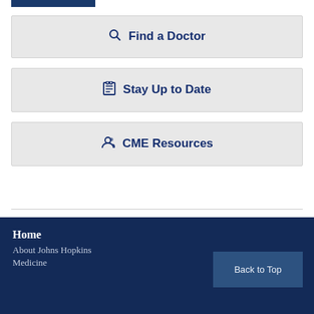[Figure (other): Blue horizontal bar at top left]
Find a Doctor
Stay Up to Date
CME Resources
Home
About Johns Hopkins Medicine
Back to Top